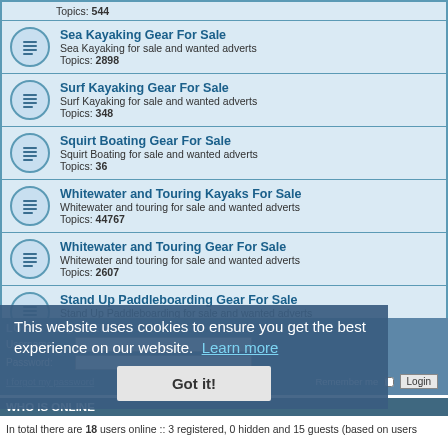Topics: 544
Sea Kayaking Gear For Sale — Sea Kayaking for sale and wanted adverts — Topics: 2898
Surf Kayaking Gear For Sale — Surf Kayaking for sale and wanted adverts — Topics: 348
Squirt Boating Gear For Sale — Squirt Boating for sale and wanted adverts — Topics: 36
Whitewater and Touring Kayaks For Sale — Whitewater and touring for sale and wanted adverts — Topics: 44767
Whitewater and Touring Gear For Sale — Whitewater and touring for sale and wanted adverts — Topics: 2607
Stand Up Paddleboarding Gear For Sale — Stand Up Paddleboarding for sale and wanted adverts — Topics: 6
LOGIN REQUIRED Username: Password: I forgot my password Remember me Login
This website uses cookies to ensure you get the best experience on our website. Learn more
Got it!
WHO IS ONLINE
In total there are 18 users online :: 3 registered, 0 hidden and 15 guests (based on users